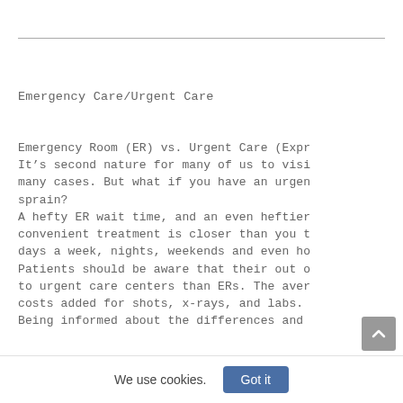Emergency Care/Urgent Care
Emergency Room (ER) vs. Urgent Care (Expr It’s second nature for many of us to visi many cases. But what if you have an urgen sprain?
A hefty ER wait time, and an even heftier convenient treatment is closer than you t days a week, nights, weekends and even ho Patients should be aware that their out o to urgent care centers than ERs. The aver costs added for shots, x-rays, and labs. Being informed about the differences and
We use cookies.
Got it